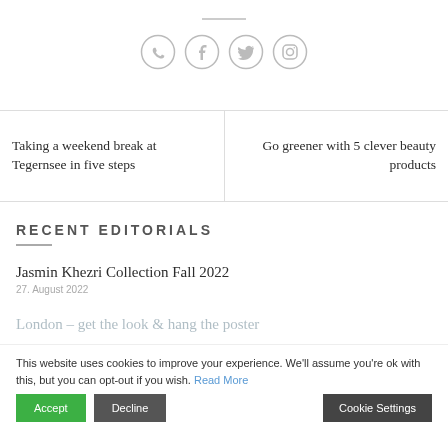[Figure (illustration): Row of four circular social media icon buttons: WhatsApp, Facebook, Twitter, Pinterest — outlined in light gray]
Taking a weekend break at Tegernsee in five steps
Go greener with 5 clever beauty products
RECENT EDITORIALS
Jasmin Khezri Collection Fall 2022
27. August 2022
London – get the look & hang the poster
This website uses cookies to improve your experience. We'll assume you're ok with this, but you can opt-out if you wish. Read More